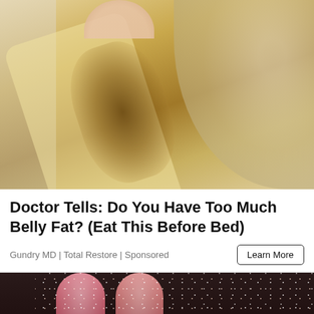[Figure (photo): Close-up photo of a translucent gel strip or patch held between fingers, with golden/brown speckles or particles on it, over a bowl background.]
Doctor Tells: Do You Have Too Much Belly Fat? (Eat This Before Bed)
Gundry MD | Total Restore | Sponsored
Learn More
[Figure (photo): Close-up photo of glittery pink/red gummy candy pieces held in a hand against a dark background, with sparkle/glitter effect.]